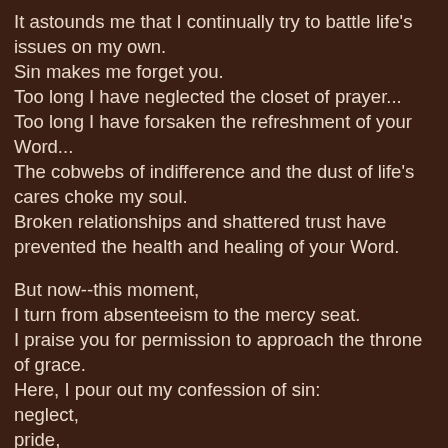It astounds me that I continually try to battle life's issues on my own.
Sin makes me forget you.
Too long I have neglected the closet of prayer...
Too long I have forsaken the refreshment of your Word...
The cobwebs of indifference and the dust of life's cares choke my soul.
Broken relationships and shattered trust have prevented the health and healing of your Word.

But now--this moment,
I turn from absenteeism to the mercy seat.
I praise you for permission to approach the throne of grace.
Here, I pour out my confession of sin:
neglect,
pride,
willfulness,
arrogance,
self-sufficiency,
foolishly questioning your providence.
Divinely sweep away my soul's clutter.
Pour down upon me streams of needful grace.